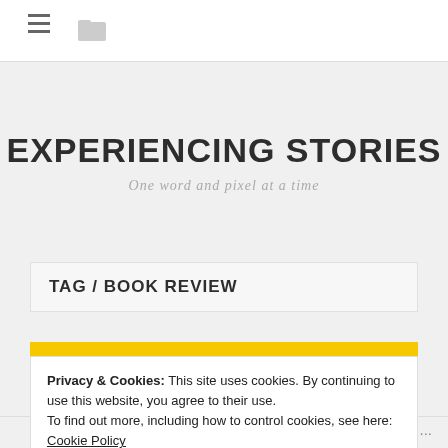≡ [menu icon] [folder icon]
EXPERIENCING STORIES
One word and pixel at a time
TAG / BOOK REVIEW
[Figure (screenshot): Yellow banner background]
Privacy & Cookies: This site uses cookies. By continuing to use this website, you agree to their use.
To find out more, including how to control cookies, see here: Cookie Policy
Close and accept
Follow